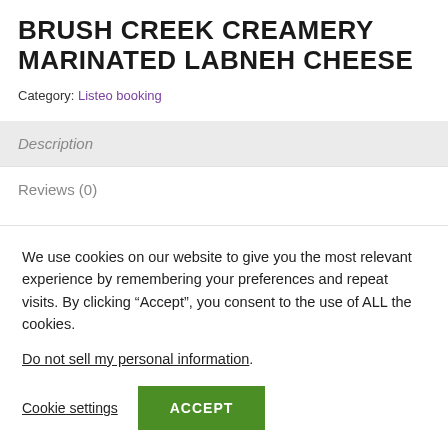BRUSH CREEK CREAMERY MARINATED LABNEH CHEESE
Category: Listeo booking
Description
Reviews (0)
We use cookies on our website to give you the most relevant experience by remembering your preferences and repeat visits. By clicking “Accept”, you consent to the use of ALL the cookies.
Do not sell my personal information.
Cookie settings
ACCEPT